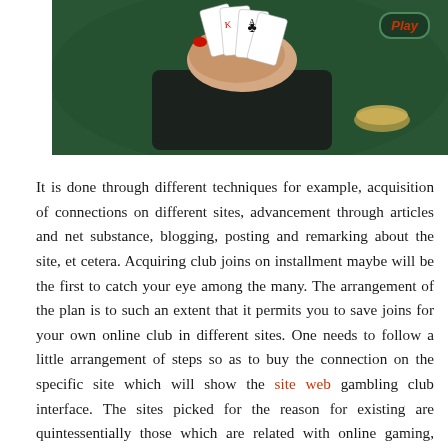[Figure (photo): Hands holding playing cards at a casino table with green felt surface. A 'Play' badge/button is visible in the upper right corner.]
It is done through different techniques for example, acquisition of connections on different sites, advancement through articles and net substance, blogging, posting and remarking about the site, et cetera. Acquiring club joins on installment maybe will be the first to catch your eye among the many. The arrangement of the plan is to such an extent that it permits you to save joins for your own online club in different sites. One needs to follow a little arrangement of steps so as to buy the connection on the specific site which will show the site web gambling club interface. The sites picked for the reason for existing are quintessentially those which are related with online gaming, gambling, online club and virtual games. This guarantees a decent crowd from individuals who are bound to be keen on your site taking care of the desires for online gambling and club. Distribution of it